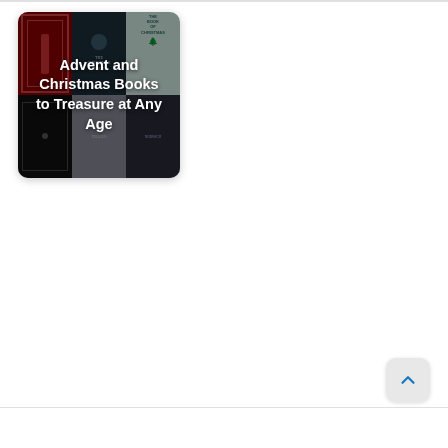[Figure (illustration): A collage of book covers arranged in a 3x2 grid showing various Christmas and Advent themed books, with a dark overlay showing the text 'Advent and Christmas Books to Treasure at Any Age' in white bold text.]